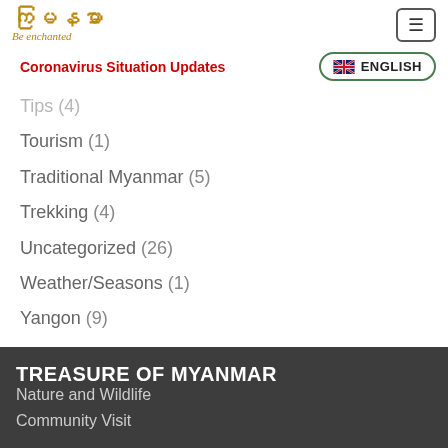[Figure (logo): Myanmar 'Be enchanted' tourism logo with golden decorative text]
Coronavirus Situation Updates
[Figure (other): English language selector button with UK flag]
Tips (4)
Tourism (1)
Traditional Myanmar (5)
Trekking (4)
Uncategorized (26)
Weather/Seasons (1)
Yangon (9)
TREASURE OF MYANMAR
Nature and Wildlife
Community Visit